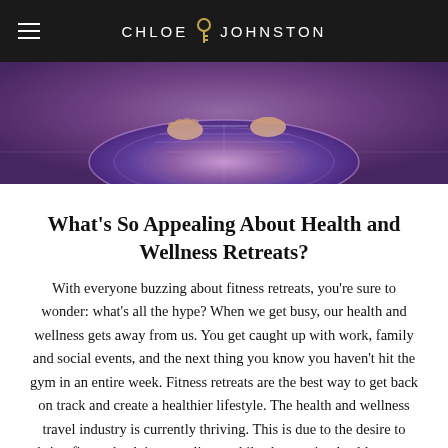CHLOE JOHNSTON
[Figure (photo): Person with hands on a circular purple yoga/meditation mat on a concrete floor, viewed from above, with hands visible at the top]
What’s So Appealing About Health and Wellness Retreats?
With everyone buzzing about fitness retreats, you’re sure to wonder: what’s all the hype? When we get busy, our health and wellness gets away from us. You get caught up with work, family and social events, and the next thing you know you haven’t hit the gym in an entire week. Fitness retreats are the best way to get back on track and create a healthier lifestyle. The health and wellness travel industry is currently thriving. This is due to the desire to bring fitness back into our lives; while also staying healthy even while on